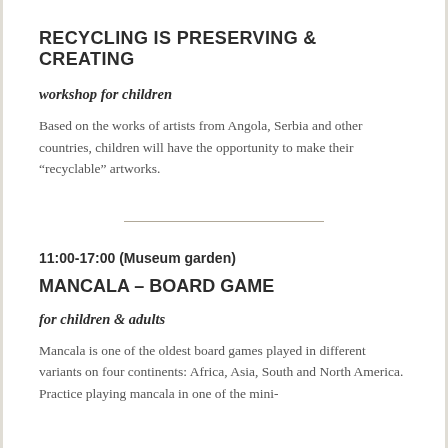RECYCLING IS PRESERVING & CREATING
workshop for children
Based on the works of artists from Angola, Serbia and other countries, children will have the opportunity to make their “recyclable” artworks.
11:00-17:00 (Museum garden)
MANCALA – BOARD GAME
for children & adults
Mancala is one of the oldest board games played in different variants on four continents: Africa, Asia, South and North America. Practice playing mancala in one of the mini-